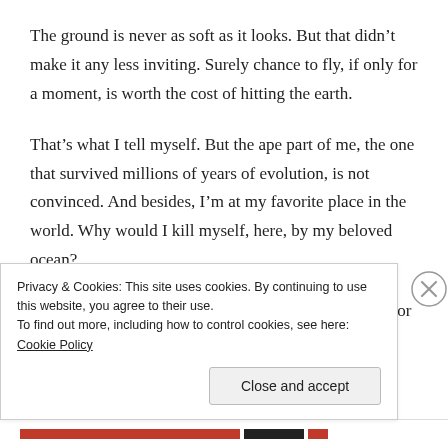The ground is never as soft as it looks. But that didn't make it any less inviting. Surely chance to fly, if only for a moment, is worth the cost of hitting the earth.
That's what I tell myself. But the ape part of me, the one that survived millions of years of evolution, is not convinced. And besides, I'm at my favorite place in the world. Why would I kill myself, here, by my beloved ocean?
I look out. I spared no expense getting the best room for
Privacy & Cookies: This site uses cookies. By continuing to use this website, you agree to their use.
To find out more, including how to control cookies, see here: Cookie Policy
Close and accept